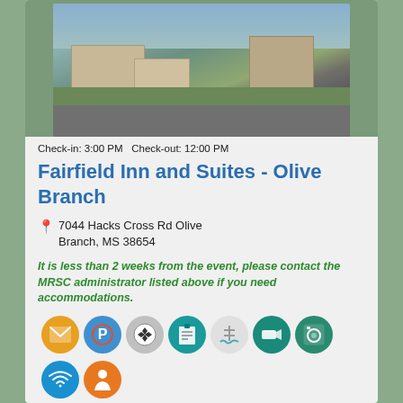[Figure (photo): Aerial view of Fairfield Inn and Suites hotel building with parking lot, landscaping, and signage]
Check-in: 3:00 PM  Check-out: 12:00 PM
Fairfield Inn and Suites - Olive Branch
7044 Hacks Cross Rd Olive Branch, MS 38654
It is less than 2 weeks from the event, please contact the MRSC administrator listed above if you need accommodations.
[Figure (infographic): Row of amenity icons: envelope/mail, parking P, soccer ball, clipboard/document, pool/ladder, projector/media, washer/laundry, wifi, concierge person]
Distance to Venue(s):